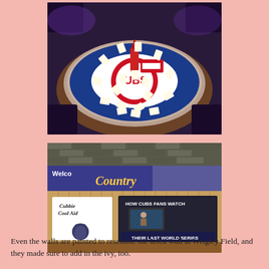[Figure (photo): A circular lazy-susan style table decorated with Chicago Cubs logo in the center and baseball cards arranged around the rim, with a red condiment bottle in the middle, in a bar/restaurant setting]
[Figure (photo): Interior of a Cubs-themed bar showing a 'Welcome to Country' sign, a sign reading 'Cubbie Cool Aid' with a cartoon bear mascot, and a sign reading 'HOW CUBS FANS WATCH THEIR LAST WORLD SERIES' with a retro TV image, wooden paneling and brick walls]
Even the walls are painted to resemble the brick wall at Wrigley Field, and they made sure to add in the ivy, too.